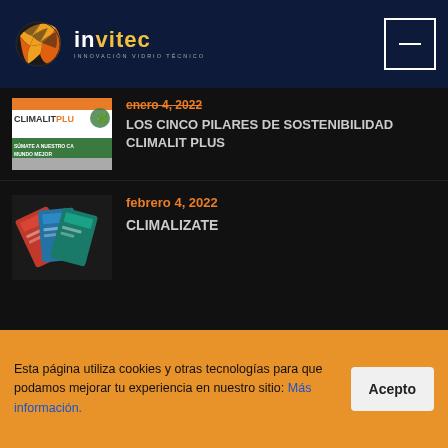invitec — Innovación Vidrio Técnico
[Figure (logo): Invitec logo with orange/yellow striped globe icon and text 'invitec' with tagline 'innovación vidrio técnico']
[Figure (photo): Climalit Plus promotional banner — white background with CLIMALITPLUS text, orange and green branding, text 'SÚMATE A NUESTRO CA... MUNDO MEJOR']
enero 4, 2022
LOS CINCO PILARES DE SOSTENIBILIDAD CLIMALIT PLUS
[Figure (photo): Climalit product cards/brochures fanned out — red, blue, teal colored cards on dark background]
febrero 4, 2022
CLIMALIZATE
Esta página utiliza cookies y otras tecnologías para que podamos mejorar tu experiencia en nuestro sitio: Más información.